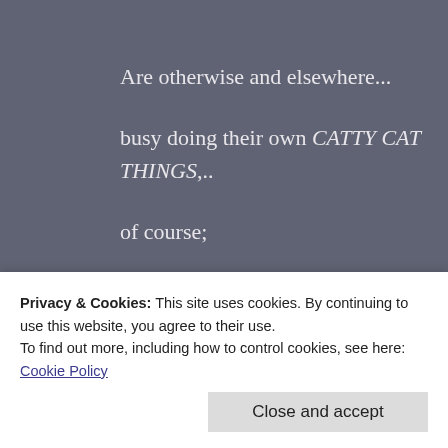Are otherwise and elsewhere...
busy doing their own CATTY CAT THINGS,..
of course;
purring included.
Privacy & Cookies: This site uses cookies. By continuing to use this website, you agree to their use.
To find out more, including how to control cookies, see here:
Cookie Policy
Close and accept